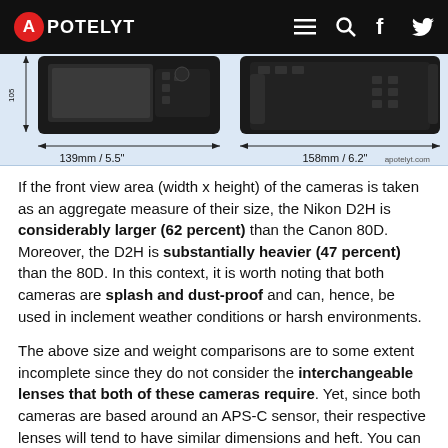APOTELYT
[Figure (photo): Top-view comparison of two DSLR cameras side by side showing dimensions: left camera 139mm / 5.5" wide, right camera 158mm / 6.2" wide. Watermark: apotelyt.com]
If the front view area (width x height) of the cameras is taken as an aggregate measure of their size, the Nikon D2H is considerably larger (62 percent) than the Canon 80D. Moreover, the D2H is substantially heavier (47 percent) than the 80D. In this context, it is worth noting that both cameras are splash and dust-proof and can, hence, be used in inclement weather conditions or harsh environments.
The above size and weight comparisons are to some extent incomplete since they do not consider the interchangeable lenses that both of these cameras require. Yet, since both cameras are based around an APS-C sensor, their respective lenses will tend to have similar dimensions and heft. You can compare the optics available for the two